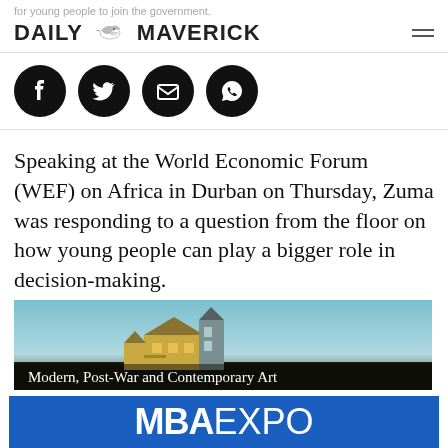for young people to join the government.
DAILY MAVERICK
[Figure (other): Social media share icons: Facebook, Twitter, Email, WhatsApp — black circles with white icons]
Speaking at the World Economic Forum (WEF) on Africa in Durban on Thursday, Zuma was responding to a question from the floor on how young people can play a bigger role in decision-making.
[Figure (photo): An illuminated Victorian-style house at dusk/night on a dark hilltop with blue sky. Text overlay reads: Modern, Post-War and Contemporary Art]
[Figure (other): MBA EXPO advertisement banner on blue background]